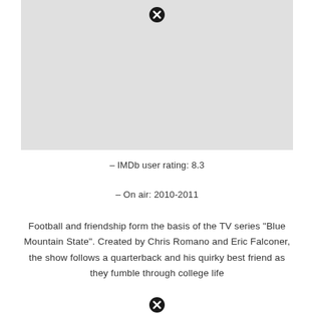[Figure (other): Gray placeholder image area with a close/remove button (X icon) at the top center]
– IMDb user rating: 8.3
– On air: 2010-2011
Football and friendship form the basis of the TV series "Blue Mountain State". Created by Chris Romano and Eric Falconer, the show follows a quarterback and his quirky best friend as they fumble through college life